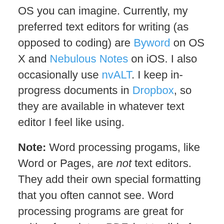OS you can imagine. Currently, my preferred text editors for writing (as opposed to coding) are Byword on OS X and Nebulous Notes on iOS. I also occasionally use nvALT. I keep in-progress documents in Dropbox, so they are available in whatever text editor I feel like using.
Note: Word processing progams, like Word or Pages, are not text editors. They add their own special formatting that you often cannot see. Word processing programs are great for writing for print or PDF, but terrible for writing for the web.
To convert Markdown to HTML, you can install Markdown on your site or system with the instructions at the bottom of this page, or use Dingus to convert the text for you. My preferred method, however, is to use an app like Byword or Marked. One of the nice features of Marked is that it